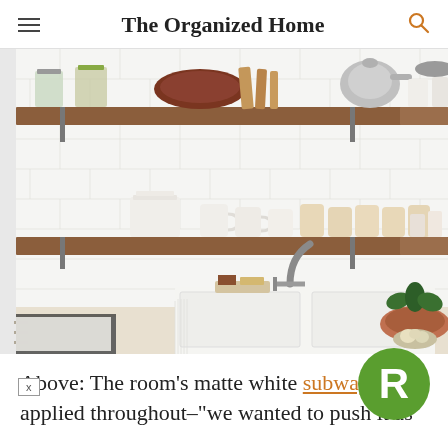The Organized Home
[Figure (photo): Kitchen interior with wooden open shelves holding glass jars, plates, mugs and bowls. White subway tile backsplash. White farmhouse sink with modern faucet. Terracotta pot with plant on counter.]
Above: The room’s matte white subway tile applied throughout–“we wanted to push it as